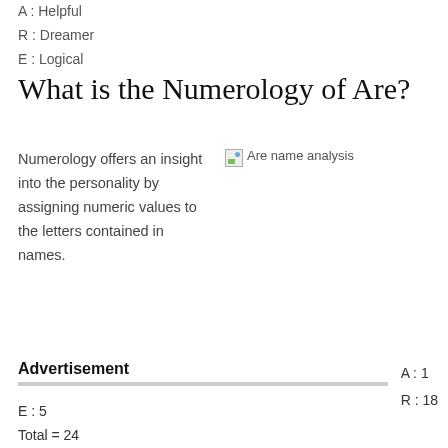A : Helpful
R : Dreamer
E : Logical
What is the Numerology of Are?
Numerology offers an insight into the personality by assigning numeric values to the letters contained in names.
[Figure (other): Are name analysis image placeholder]
Advertisement
A : 1
R : 18
E : 5
Total = 24